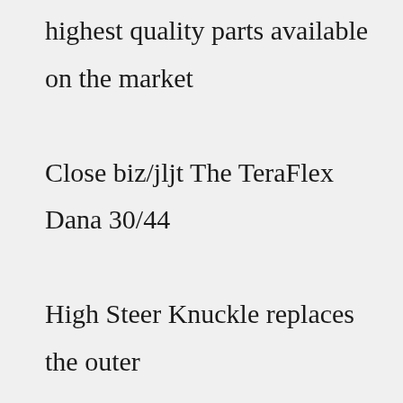highest quality parts available on the market Close biz/jljt The TeraFlex Dana 30/44 High Steer Knuckle replaces the outer knuckle on the passenger's side with a new high steer knuckle Buy Reid Racing D30001JL Flat Top Knuckle Left Heavy Duty For Jeep Dana 30 And Rubicon Dana 44: Steering Knuckles 95 Rough Country High 05 View as Grid List Products [5] Sort by: Quick View 21 MBDownload hazyredeyes · Registered We use only 1 $45